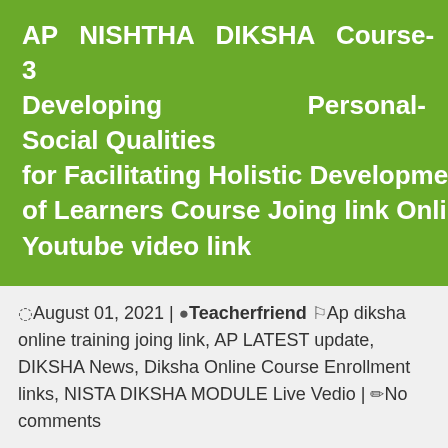AP NISHTHA DIKSHA Course-3 Developing Personal-Social Qualities for Facilitating Holistic Development of Learners Course Joing link Online Youtube video link
August 01, 2021 | Teacherfriend Ap diksha online training joing link, AP LATEST update, DIKSHA News, Diksha Online Course Enrollment links, NISTA DIKSHA MODULE Live Vedio | No comments